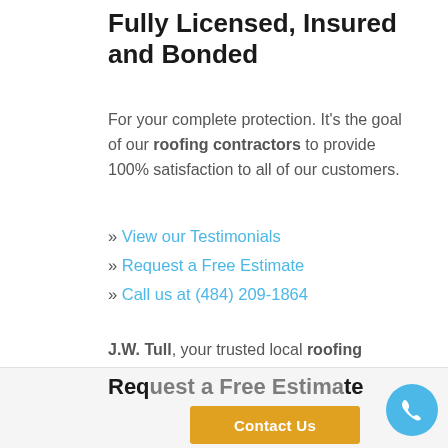Fully Licensed, Insured and Bonded
For your complete protection. It's the goal of our roofing contractors to provide 100% satisfaction to all of our customers.
» View our Testimonials
» Request a Free Estimate
» Call us at (484) 209-1864
J.W. Tull, your trusted local roofing contractor, provides, roofing installation, siding installation, and home remodeling services to Southeastern Pennsylvania.
Request a Free Estimate
Contact Us